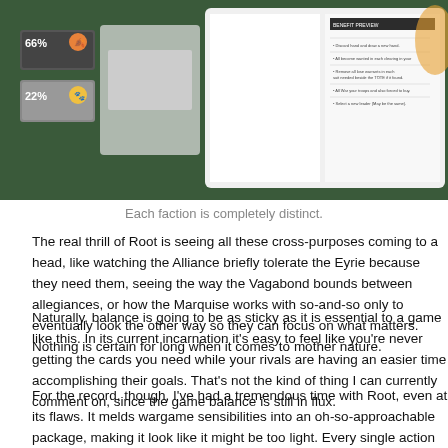[Figure (photo): Photo of board game components showing faction cards and rulebook spread on a dark green surface]
Each faction is completely distinct.
The real thrill of Root is seeing all these cross-purposes coming to a head, like watching the Alliance briefly tolerate the Eyrie because they need them, seeing the way the Vagabond bounds between allegiances, or how the Marquise works with so-and-so only to eventually look the other way so they can focus on what matters. Nothing is certain for long when it comes to mother nature.
Naturally, balance is going to be as sticky as it is essential to a game like this. In its current incarnation it's easy to feel like you're never getting the cards you need while your rivals are having an easier time accomplishing their goals. That's not the kind of thing I can currently comment on, since the game balance is still in flux.
For the record, though, I've had a tremendous time with Root, even at its flaws. It melds wargame sensibilities into an oh-so-approachable package, making it look like it might be too light. Every single action carries real weight, every march will push your rivals back, and in the end only the fittest will survive.